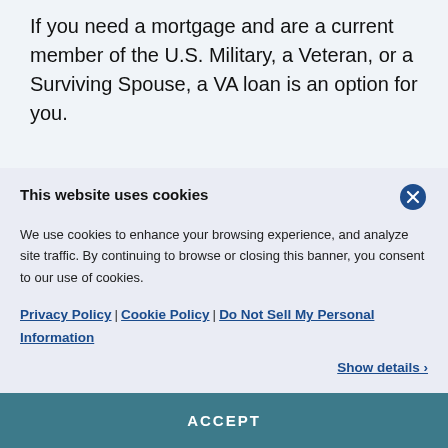If you need a mortgage and are a current member of the U.S. Military, a Veteran, or a Surviving Spouse, a VA loan is an option for you.
This website uses cookies
We use cookies to enhance your browsing experience, and analyze site traffic. By continuing to browse or closing this banner, you consent to our use of cookies.
Privacy Policy | Cookie Policy | Do Not Sell My Personal Information
Show details >
ACCEPT